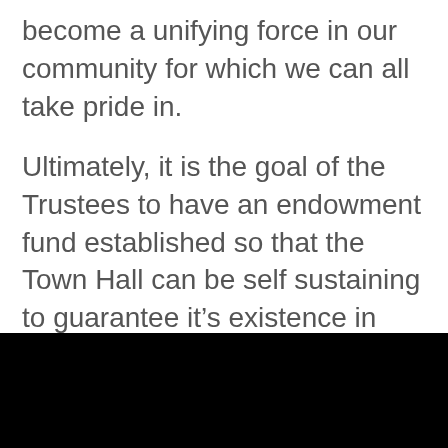become a unifying force in our community for which we can all take pride in.
Ultimately, it is the goal of the Trustees to have an endowment fund established so that the Town Hall can be self sustaining to guarantee it’s existence in perpetuity.